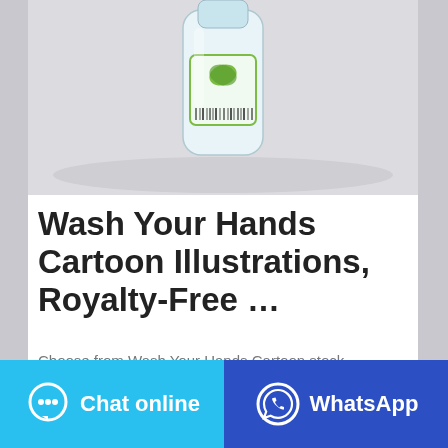[Figure (photo): Photo of a hand sanitizer or cleaning product bottle on a white surface, partially cropped at top]
Wash Your Hands Cartoon Illustrations, Royalty-Free …
Choose from Wash Your Hands Cartoon stock illustrations from iStock. Find high-quality royalty-free vector images that you won't find anywhere else.
Chat online | WhatsApp